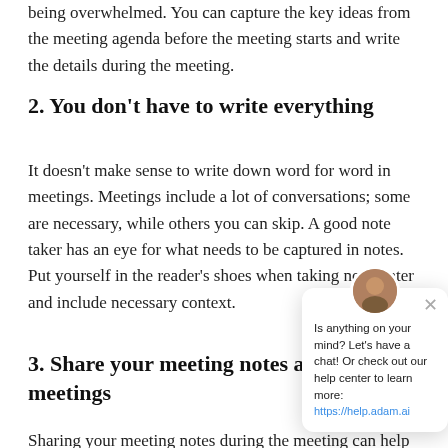being overwhelmed. You can capture the key ideas from the meeting agenda before the meeting starts and write the details during the meeting.
2. You don’t have to write everything
It doesn’t make sense to write down word for word in meetings. Meetings include a lot of conversations; some are necessary, while others you can skip. A good note taker has an eye for what needs to be captured in notes. Put yourself in the reader’s shoes when taking notes later and include necessary context.
3. Share your meeting notes after meetings
Sharing your meeting notes during the meeting can help the attendees more focused, especially in long meetings.
[Figure (other): Chat support popup bubble with avatar, close button, and text 'Is anything on your mind? Let’s have a chat! Or check out our help center to learn more: https://help.adam.ai'. A blue circular chat button is in the bottom right.]